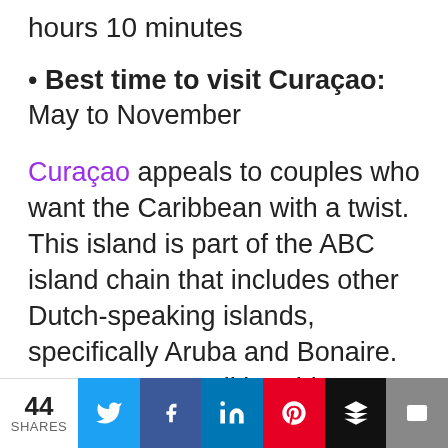hours 10 minutes
Best time to visit Curaçao: May to November
Curaçao appeals to couples who want the Caribbean with a twist. This island is part of the ABC island chain that includes other Dutch-speaking islands, specifically Aruba and Bonaire. In Curaçao, you'll be able to get a taste of the island's history as you explore the capital city Willemstad. This whole city is a world heritage site filled with pastel-colored Dutch colonial
44 SHARES | Twitter | Facebook | LinkedIn | Pinterest | Buffer | Email